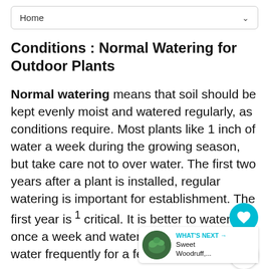Home
Conditions : Normal Watering for Outdoor Plants
Normal watering means that soil should be kept evenly moist and watered regularly, as conditions require. Most plants like 1 inch of water a week during the growing season, but take care not to over water. The first two years after a plant is installed, regular watering is important for establishment. The first year is critical. It is better to water once a week and water deeply, than to water frequently for a few minutes.